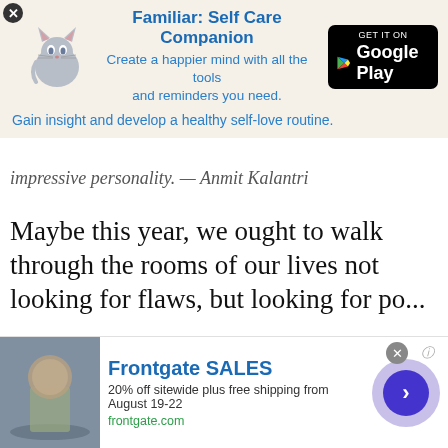[Figure (screenshot): App advertisement banner for 'Familiar: Self Care Companion' with cat illustration and Google Play button on beige background]
impressive personality. — Anmit Kalantri
Maybe this year, we ought to walk through the rooms of our lives not looking for flaws, but looking for po...
You May Like...
[Figure (screenshot): Video overlay showing 'THIS DAY IN HISTORY' with video controls, August label, and caption 'trouble not in']
[Figure (screenshot): Recommendation card with gradient background and text 'A bird doesn't sing beca... has an answer, it sings becaus...']
[Figure (screenshot): Advertisement for Frontgate SALES - 20% off sitewide plus free shipping from August 19-22, frontgate.com, with patio furniture image and chevron button]